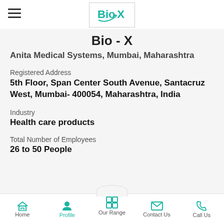[Figure (logo): Bio-X logo in a rectangular box with teal/green text]
Bio - X
Anita Medical Systems, Mumbai, Maharashtra
Registered Address
5th Floor, Span Center South Avenue, Santacruz West, Mumbai- 400054, Maharashtra, India
Industry
Health care products
Total Number of Employees
26 to 50 People
Home   Profile   Our Range   Contact Us   Call Us